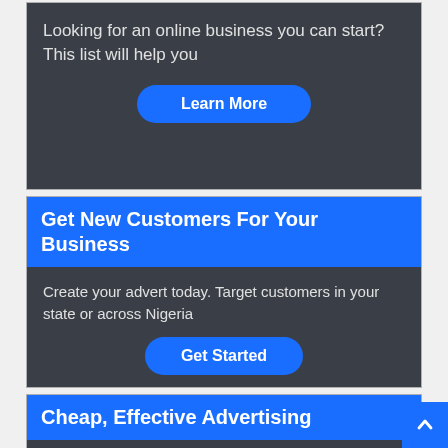Looking for an online business you can start? This list will help you
Learn More
Get New Customers For Your Business
Create your advert today. Target customers in your state or across Nigeria
Get Started
Cheap, Effective Advertising
Advertise on this website and thousands of other websites with only ₦1000
Contact Us